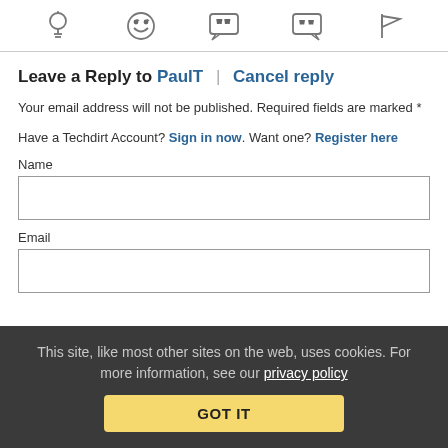[Figure (other): Row of 5 icon buttons: lightbulb, laughing emoji, speech bubble with quotes, speech bubble with quotes (smaller), flag]
Leave a Reply to PaulT | Cancel reply
Your email address will not be published. Required fields are marked *
Have a Techdirt Account? Sign in now. Want one? Register here
Name
Email
This site, like most other sites on the web, uses cookies. For more information, see our privacy policy
GOT IT